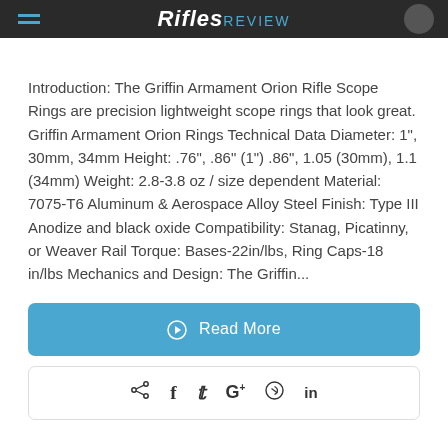Rifles Review
Introduction:  The Griffin Armament Orion Rifle Scope Rings are precision lightweight scope rings that look great. Griffin Armament Orion Rings Technical Data Diameter: 1", 30mm, 34mm Height: .76", .86" (1") .86", 1.05 (30mm), 1.1 (34mm) Weight: 2.8-3.8 oz / size dependent Material: 7075-T6 Aluminum & Aerospace Alloy Steel Finish: Type III Anodize and black oxide Compatibility: Stanag, Picatinny, or Weaver Rail Torque: Bases-22in/lbs, Ring Caps-18 in/lbs Mechanics and Design: The Griffin...
Read More
share icons: share, facebook, twitter, google+, pinterest, linkedin